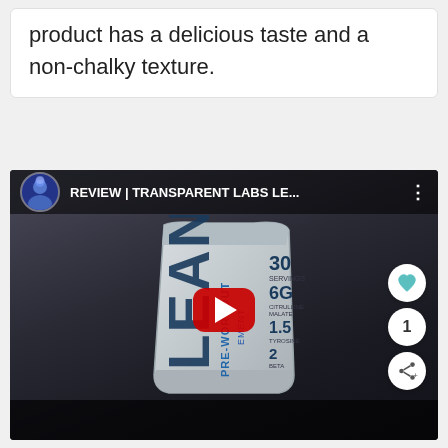product has a delicious taste and a non-chalky texture.
[Figure (screenshot): YouTube video thumbnail showing a review of Transparent Labs LEAN Pre-Workout product. The video shows a silver/white product bag labeled 'LEAN PRE-WORKOUT' with '30 servings', '6G', '1.5', '2' visible on the bag. A YouTube play button is in the center. The video bar shows channel avatar, title 'REVIEW | TRANSPARENT LABS LE...' and three-dot menu. Side buttons show heart/like icon, count '1', and share icon.]